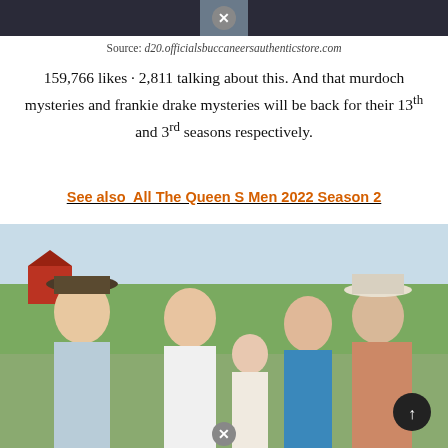[Figure (photo): Partial top strip of a photo showing dark-clothed figures against a dark background, with a close/X button overlay in the center]
Source: d20.officialsbuccaneersauthenticstore.com
159,766 likes · 2,811 talking about this. And that murdoch mysteries and frankie drake mysteries will be back for their 13th and 3rd seasons respectively.
See also  All The Queen S Men 2022 Season 2
[Figure (photo): Group photo of five people (two men in cowboy hats, a woman in white, a young girl, and a teenage girl) posed outdoors in front of a barn and trees, with a scroll-up button and close/X button overlay]